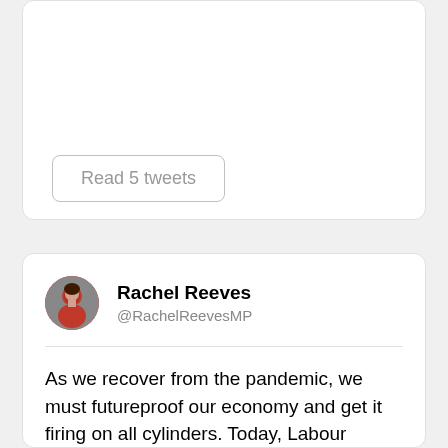[Figure (screenshot): Top portion of a Twitter/social media card, partially visible, showing white card with rounded border]
Read 5 tweets
[Figure (screenshot): Twitter card for Rachel Reeves (@RachelReevesMP) with profile avatar showing a woman in red jacket]
Rachel Reeves
@RachelReevesMP
As we recover from the pandemic, we must futureproof our economy and get it firing on all cylinders. Today, Labour launches how we would start that: by making, buying & selling more in Britain, and building the skills and jobs of the future. Thread. theguardian.com/politics/2021/…